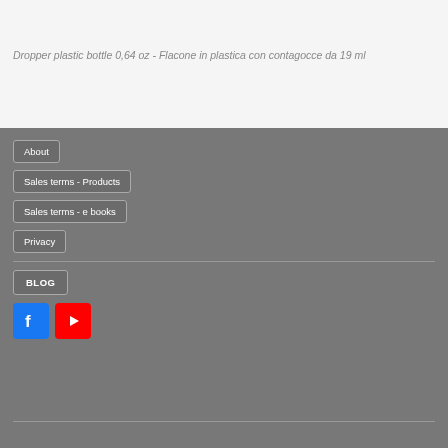Dropper plastic bottle 0,64 oz - Flacone in plastica con contagocce da 19 ml
About
Sales terms - Products
Sales terms - e books
Privacy
BLOG
[Figure (logo): Facebook and YouTube social media icons]